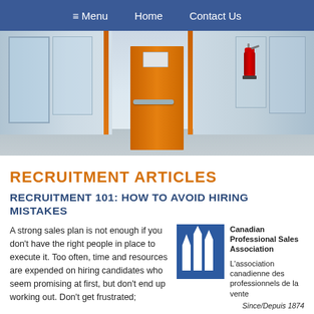≡ Menu   Home   Contact Us
[Figure (photo): Corridor with orange emergency exit door, fire extinguisher on right wall, glass panel walls on both sides]
RECRUITMENT ARTICLES
RECRUITMENT 101: HOW TO AVOID HIRING MISTAKES
A strong sales plan is not enough if you don't have the right people in place to execute it. Too often, time and resources are expended on hiring candidates who seem promising at first, but don't end up working out. Don't get frustrated; get prepared
[Figure (logo): Canadian Professional Sales Association logo — blue mountain/bar chart icon]
Canadian Professional Sales Association
L'association canadienne des professionnels de la vente
Since/Depuis 1874